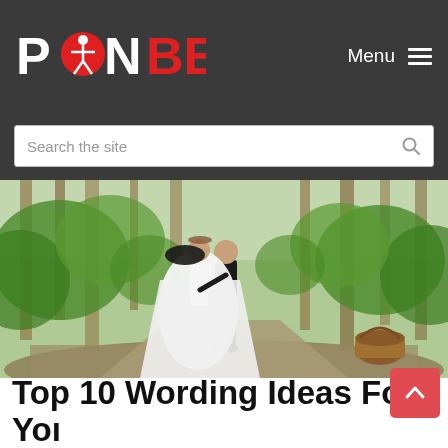PONBEE — Menu
Search the site
[Figure (photo): Wedding couple dancing on a forest road. Groom in black suit lifting bride in white gown, surrounded by tall green trees. A wicker basket is visible on the right side of the path.]
Top 10 Wording Ideas For Your